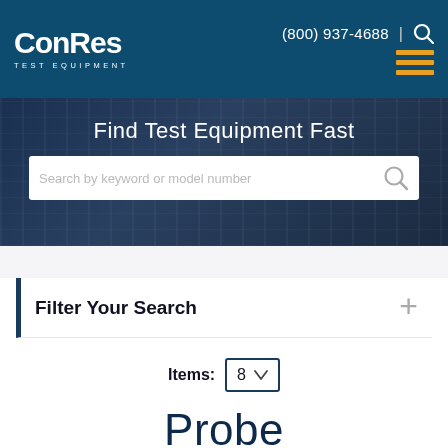[Figure (logo): ConRes Test Equipment logo — white text on teal/dark blue header background]
(800) 937-4688
Find Test Equipment Fast
Search by keyword or model number
Filter Your Search
Items: 8
Probe